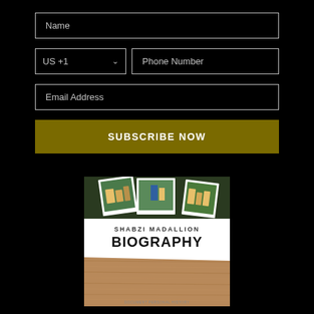Name
US +1
Phone Number
Email Address
SUBSCRIBE NOW
[Figure (illustration): Book cover for 'Shabzi Madallion Biography' showing photos of people at top and a wood-grain texture at the bottom, with white torn-paper effect in the middle displaying the title text.]